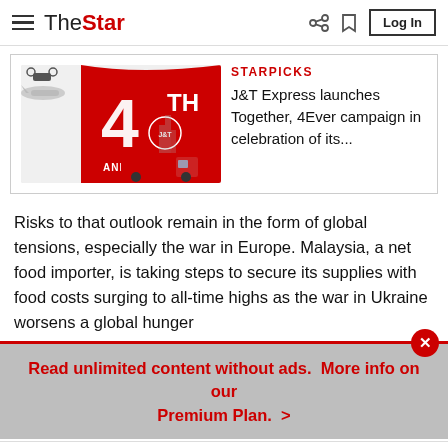TheStar — Log In
[Figure (screenshot): J&T Express 4th Anniversary advertisement banner with red background, airplane, truck, and Kuala Lumpur skyline]
STARPICKS
J&T Express launches Together, 4Ever campaign in celebration of its...
Risks to that outlook remain in the form of global tensions, especially the war in Europe. Malaysia, a net food importer, is taking steps to secure its supplies with food costs surging to all-time highs as the war in Ukraine worsens a global hunger
Read unlimited content without ads.  More info on our Premium Plan.  >
Home   For You   Bookmark   Audio   Search